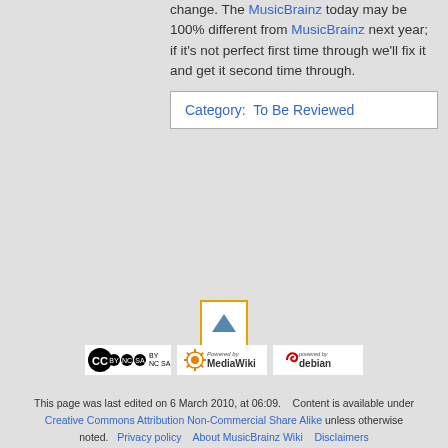change. The MusicBrainz today may be 100% different from MusicBrainz next year; if it's not perfect first time through we'll fix it and get it second time through.
Category: To Be Reviewed
[Figure (other): Scroll to top button with orange border and upward triangle arrow]
[Figure (logo): Creative Commons Attribution Non-Commercial Share Alike logo]
[Figure (logo): Powered by MediaWiki logo]
[Figure (logo): Powered by Debian logo]
This page was last edited on 6 March 2010, at 06:09.    Content is available under Creative Commons Attribution Non-Commercial Share Alike unless otherwise noted.   Privacy policy    About MusicBrainz Wiki    Disclaimers